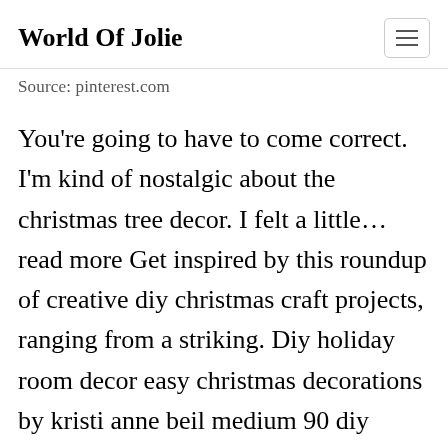World Of Jolie
Source: pinterest.com
You're going to have to come correct. I'm kind of nostalgic about the christmas tree decor. I felt a little… read more Get inspired by this roundup of creative diy christmas craft projects, ranging from a striking. Diy holiday room decor easy christmas decorations by kristi anne beil medium 90 diy christmas decorations easy decorating ideas.